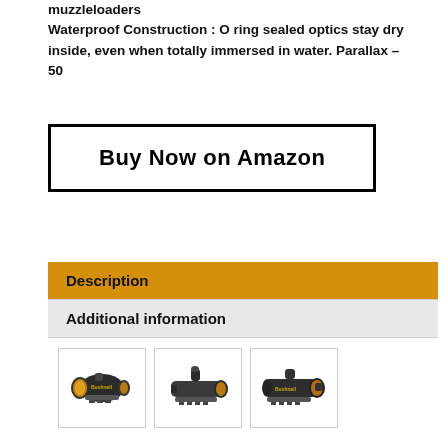muzzleloaders
Waterproof Construction : O ring sealed optics stay dry inside, even when totally immersed in water. Parallax – 50
Buy Now on Amazon
Description
Additional information
[Figure (photo): Three product images of Bushnell red dot scopes shown side by side]